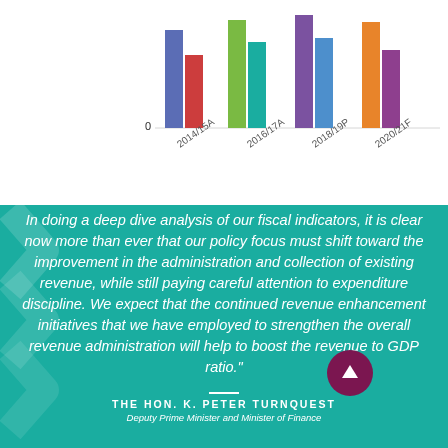[Figure (bar-chart): Grouped bar chart showing fiscal indicators across years 2014/15A to 2020/21F, partial view showing tops of bars in various colors]
In doing a deep dive analysis of our fiscal indicators, it is clear now more than ever that our policy focus must shift toward the improvement in the administration and collection of existing revenue, while still paying careful attention to expenditure discipline. We expect that the continued revenue enhancement initiatives that we have employed to strengthen the overall revenue administration will help to boost the revenue to GDP ratio."
THE HON. K. PETER TURNQUEST
Deputy Prime Minister and Minister of Finance